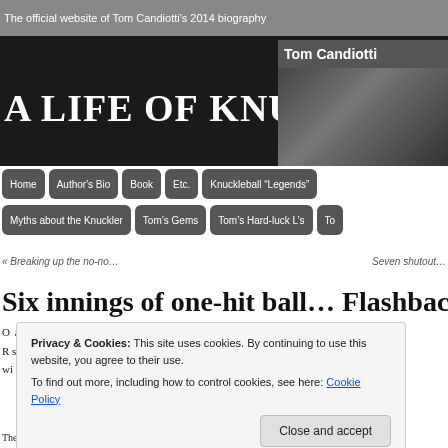The official website of Tom Candiotti's 2014 biography
[Figure (screenshot): Hero banner with 'A Life of Knuckleball' title in white serif font on black background, with Tom Candiotti photo box in top right corner]
Home
Author's Bio
Book
Etc.
Knuckleball “Legends”
Myths about the Knuckler
Tom’s Gems
Tom’s Hard-luck L’s
« Breaking up the no-no…
Seven shutout…
Six innings of one-hit ball… Flashback to
Privacy & Cookies: This site uses cookies. By continuing to use this website, you agree to their use.
To find out more, including how to control cookies, see here: Cookie Policy
Close and accept
The right-handed Hahn, who was just called up from Double-A San Antonio to